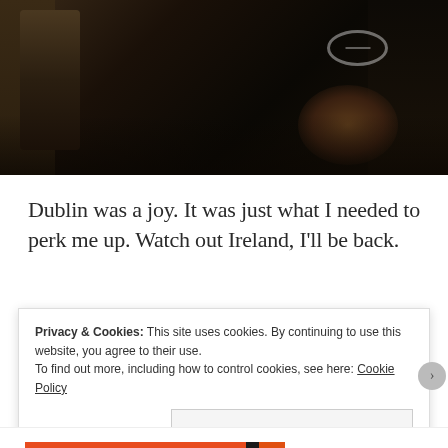[Figure (photo): Dark photo of people in what appears to be a bar or pub setting, showing partial figures and hands in low lighting. One person wearing a dark shirt with a circular logo visible.]
Dublin was a joy. It was just what I needed to perk me up. Watch out Ireland, I'll be back.
Privacy & Cookies: This site uses cookies. By continuing to use this website, you agree to their use.
To find out more, including how to control cookies, see here: Cookie Policy
Close and accept